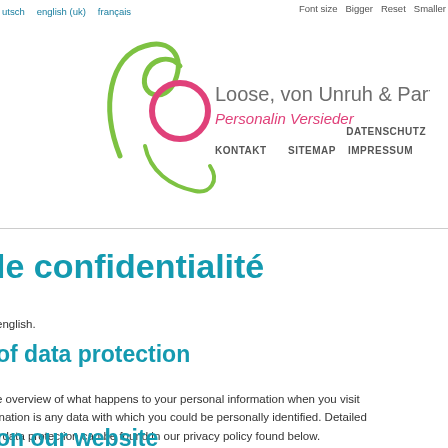utsch   english (uk)   français   Font size   Bigger   Reset   Smaller
[Figure (logo): Loose, von Unruh & Partner logo with stylized green and pink circular figure, tagline 'Personalin Versieder' in pink italic]
KONTAKT   SITEMAP   IMPRESSUM   DATENSCHUTZ
le confidentialité
english.
of data protection
e overview of what happens to your personal information when you visit ination is any data with which you could be personally identified. Detailed f data protection can be found in our privacy policy found below.
on our website